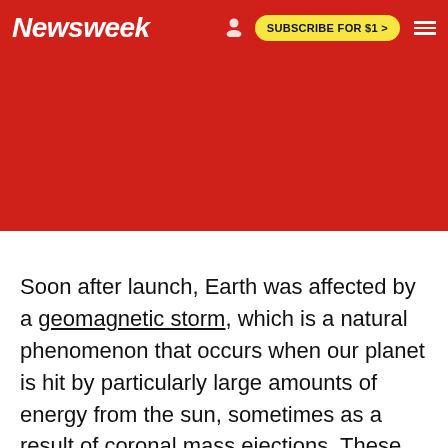Newsweek | SUBSCRIBE FOR $1 >
Soon after launch, Earth was affected by a geomagnetic storm, which is a natural phenomenon that occurs when our planet is hit by particularly large amounts of energy from the sun, sometimes as a result of coronal mass ejections. These storms can cause all sorts of